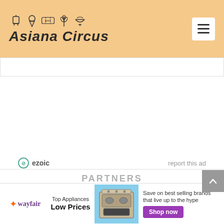[Figure (logo): Asiana Circus website header with logo featuring small icons (lamp, ice cream, ticket, wheat, bowl) above text 'Asiana Circus' in bold italic style, on a peach/orange background. Hamburger menu button on the right.]
ezoic   report this ad
PARTNERS
[Figure (photo): Partial photo of a person's face (eyes and forehead visible) with dark hair against white background]
[Figure (infographic): Wayfair advertisement banner: Wayfair logo, 'Top Appliances Low Prices', image of appliances, 'Save on best selling brands that live up to the hype', purple 'Shop now' button]